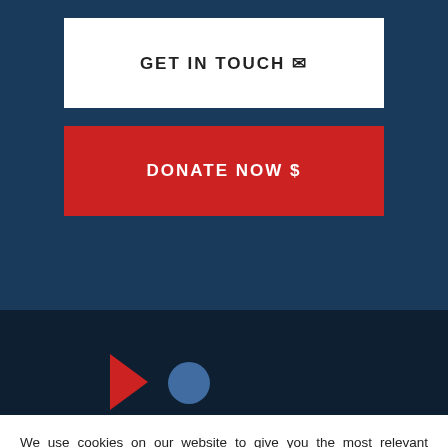GET IN TOUCH ✉
DONATE NOW 💲
[Figure (screenshot): Dark navy blue section with a red arrow and blue circle icon visible at the bottom, part of a website footer area]
We use cookies on our website to give you the most relevant experience by remembering your preferences and repeat visits. By clicking "Accept All", you consent to the use of ALL the cookies. However, you may visit "Cookie Settings" to provide a controlled consent.
Cookie Settings
Accept All